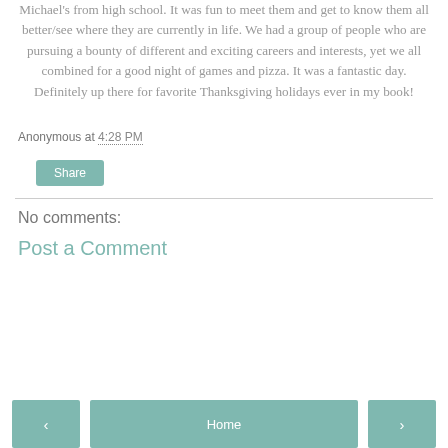Michael's from high school. It was fun to meet them and get to know them all better/see where they are currently in life. We had a group of people who are pursuing a bounty of different and exciting careers and interests, yet we all combined for a good night of games and pizza. It was a fantastic day. Definitely up there for favorite Thanksgiving holidays ever in my book!
Anonymous at 4:28 PM
Share
No comments:
Post a Comment
‹  Home  ›